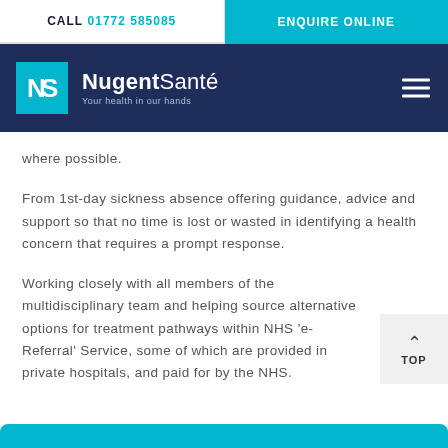CALL 01772 585085 | ENQUIRE ONLINE
[Figure (logo): NugentSanté logo with teal NS icon and text 'Your health in our hands']
where possible.
From 1st-day sickness absence offering guidance, advice and support so that no time is lost or wasted in identifying a health concern that requires a prompt response.
Working closely with all members of the multidisciplinary team and helping source alternative options for treatment pathways within NHS 'e-Referral' Service, some of which are provided in private hospitals, and paid for by the NHS.